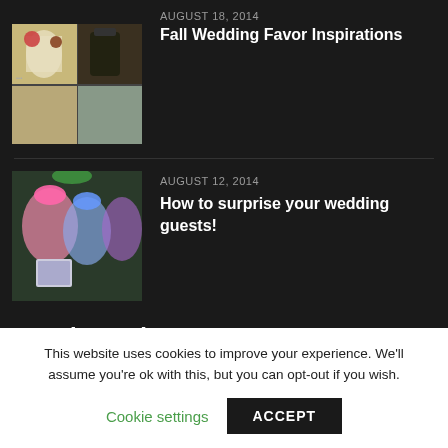AUGUST 18, 2014
Fall Wedding Favor Inspirations
[Figure (photo): Collage of fall wedding favor items including mason jars and small containers]
AUGUST 12, 2014
How to surprise your wedding guests!
[Figure (photo): Colorful organza gift bags in pink, blue, and purple with small boxes]
Local Weather
18°C
overcast clouds
This website uses cookies to improve your experience. We'll assume you're ok with this, but you can opt-out if you wish.
Cookie settings
ACCEPT